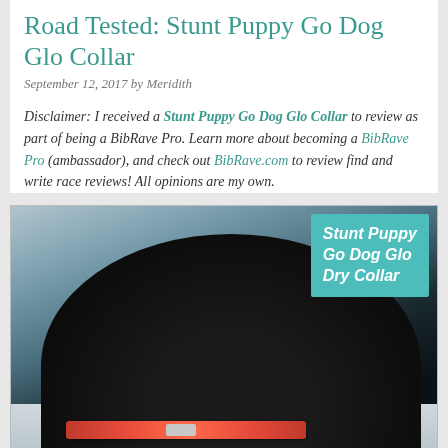Road Tested: Stunt Puppy Go Dog Glo Collar
September 12, 2017 by Meridith
Disclaimer: I received a Stunt Puppy Go Dog Glo Collar to review as part of being a BibRave Pro. Learn more about becoming a BibRave Pro (ambassador), and check out BibRave.com to review find and write race reviews! All opinions are my own.
[Figure (photo): Black dog wearing an orange Stunt Puppy Go Dog Glo Dry Collar, photographed outdoors with a teal/aqua building in the background. A teal overlay box in the upper right reads 'Stunt Puppy Go Dog Glo Dry Collar' in white italic text.]